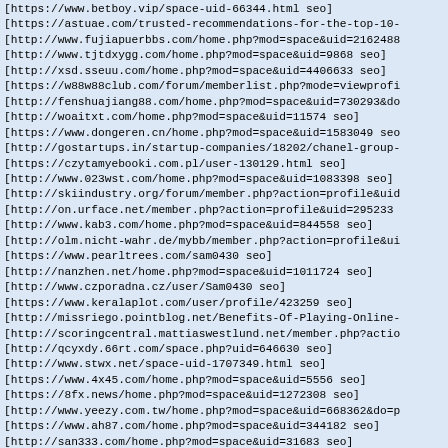[https://www.betboy.vip/space-uid-66344.html seo]
[https://astuae.com/trusted-recommendations-for-the-top-10-
[http://www.fujiapuerbbs.com/home.php?mod=space&uid=2162488
[http://www.tjtdxygg.com/home.php?mod=space&uid=9868 seo]
[http://xsd.sseuu.com/home.php?mod=space&uid=4406633 seo]
[https://w88w88club.com/forum/memberlist.php?mode=viewprofi
[http://fenshuajiang88.com/home.php?mod=space&uid=730293&do
[http://woaitxt.com/home.php?mod=space&uid=11574 seo]
[https://www.dongeren.cn/home.php?mod=space&uid=1583049 seo
[http://gostartups.in/startup-companies/18202/chanel-group-
[https://czytamyebooki.com.pl/user-130129.html seo]
[http://www.023wst.com/home.php?mod=space&uid=1083398 seo]
[http://skiindustry.org/forum/member.php?action=profile&uid
[http://on.urface.net/member.php?action=profile&uid=295233
[http://www.kab3.com/home.php?mod=space&uid=844558 seo]
[http://olm.nicht-wahr.de/mybb/member.php?action=profile&ui
[https://www.pearltrees.com/sam0430 seo]
[http://nanzhen.net/home.php?mod=space&uid=1011724 seo]
[http://www.czporadna.cz/user/Sam0430 seo]
[https://www.keralaplot.com/user/profile/423259 seo]
[http://missriego.pointblog.net/Benefits-Of-Playing-Online-
[http://scoringcentral.mattiaswestlund.net/member.php?actio
[http://qcyxdy.66rt.com/space.php?uid=646630 seo]
[http://www.stwx.net/space-uid-1707349.html seo]
[https://www.4x45.com/home.php?mod=space&uid=5556 seo]
[https://8fx.news/home.php?mod=space&uid=1272308 seo]
[http://www.yeezy.com.tw/home.php?mod=space&uid=668362&do=p
[https://www.ah87.com/home.php?mod=space&uid=344182 seo]
[http://san333.com/home.php?mod=space&uid=31683 seo]
[https://vbn77.blogspot.com/2021/07/watch-your-step-in-this